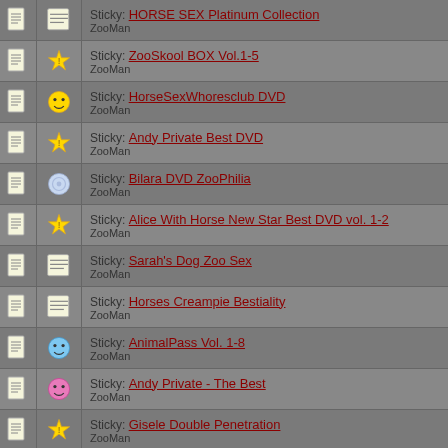Sticky: HORSE SEX Platinum Collection
ZooMan
Sticky: ZooSkool BOX Vol.1-5
ZooMan
Sticky: HorseSexWhoresclub DVD
ZooMan
Sticky: Andy Private Best DVD
ZooMan
Sticky: Bilara DVD ZooPhilia
ZooMan
Sticky: Alice With Horse New Star Best DVD vol. 1-2
ZooMan
Sticky: Sarah's Dog Zoo Sex
ZooMan
Sticky: Horses Creampie Bestiality
ZooMan
Sticky: AnimalPass Vol. 1-8
ZooMan
Sticky: Andy Private - The Best
ZooMan
Sticky: Gisele Double Penetration
ZooMan
Sticky: ...